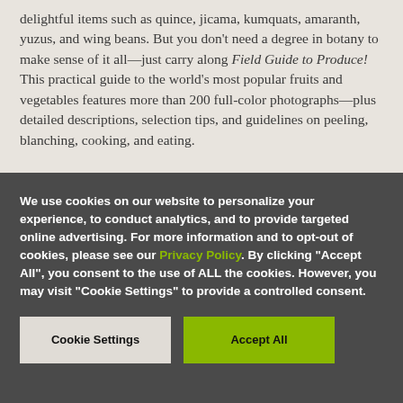delightful items such as quince, jicama, kumquats, amaranth, yuzus, and wing beans. But you don't need a degree in botany to make sense of it all—just carry along Field Guide to Produce! This practical guide to the world's most popular fruits and vegetables features more than 200 full-color photographs—plus detailed descriptions, selection tips, and guidelines on peeling, blanching, cooking, and eating.
We use cookies on our website to personalize your experience, to conduct analytics, and to provide targeted online advertising. For more information and to opt-out of cookies, please see our Privacy Policy. By clicking "Accept All", you consent to the use of ALL the cookies. However, you may visit "Cookie Settings" to provide a controlled consent.